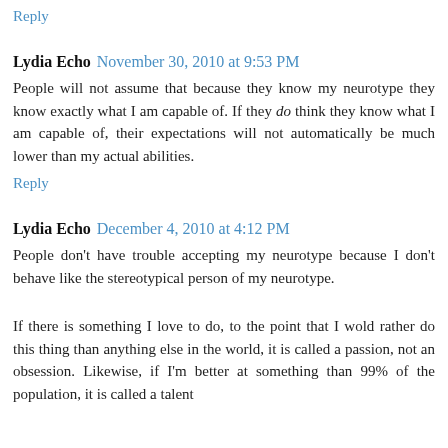Reply
Lydia Echo  November 30, 2010 at 9:53 PM
People will not assume that because they know my neurotype they know exactly what I am capable of. If they do think they know what I am capable of, their expectations will not automatically be much lower than my actual abilities.
Reply
Lydia Echo  December 4, 2010 at 4:12 PM
People don't have trouble accepting my neurotype because I don't behave like the stereotypical person of my neurotype.
If there is something I love to do, to the point that I wold rather do this thing than anything else in the world, it is called a passion, not an obsession. Likewise, if I'm better at something than 99% of the population, it is called a talent